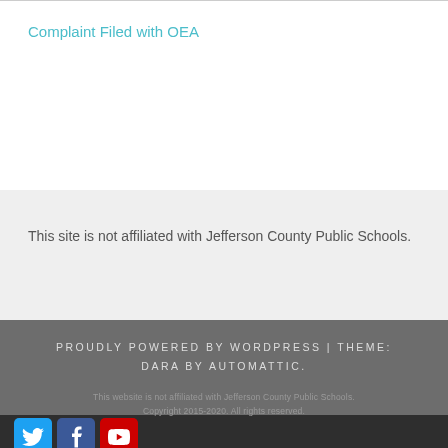Complaint Filed with OEA
This site is not affiliated with Jefferson County Public Schools.
PROUDLY POWERED BY WORDPRESS | THEME: DARA BY AUTOMATTIC.
This website is not affiliated with Jefferson County Public Schools. Copyright 2015-2020. All rights reserved.
[Figure (other): Social media icons: Twitter (blue bird), Facebook (blue f), YouTube (red play button)]